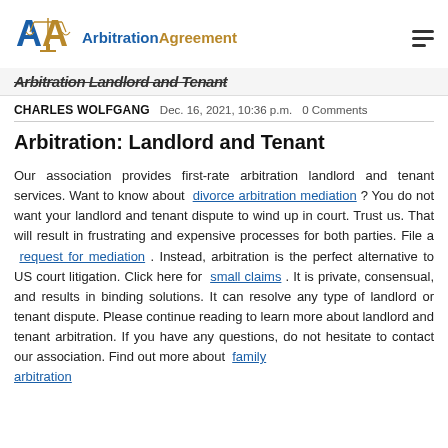[Figure (logo): ArbitrationAgreement logo with blue and gold 'AA' scales of justice icon and text 'ArbitrationAgreement' in blue and gold]
Arbitration Landlord and Tenant
CHARLES WOLFGANG   Dec. 16, 2021, 10:36 p.m.   0 Comments
Arbitration: Landlord and Tenant
Our association provides first-rate arbitration landlord and tenant services. Want to know about divorce arbitration mediation ? You do not want your landlord and tenant dispute to wind up in court. Trust us. That will result in frustrating and expensive processes for both parties. File a request for mediation . Instead, arbitration is the perfect alternative to US court litigation. Click here for small claims . It is private, consensual, and results in binding solutions. It can resolve any type of landlord or tenant dispute. Please continue reading to learn more about landlord and tenant arbitration. If you have any questions, do not hesitate to contact our association. Find out more about family arbitration